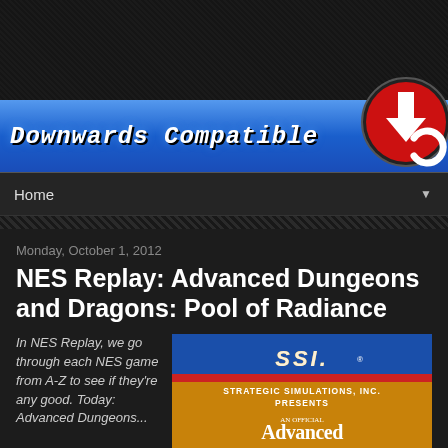[Figure (logo): Downwards Compatible website banner with blue background and site logo - red circle with white cross/controller icon]
Home
Monday, October 1, 2012
NES Replay: Advanced Dungeons and Dragons: Pool of Radiance
In NES Replay, we go through each NES game from A-Z to see if they're any good. Today: Advanced Dungeons...
[Figure (screenshot): SSI Strategic Simulations Inc. presents Advanced Dungeons and Dragons game title screen with orange and blue colors]